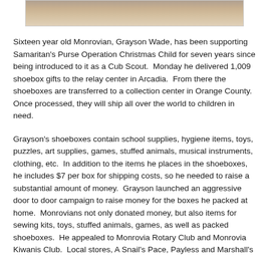[Figure (photo): Partial photo strip at top of page showing colorful items on a floor/surface]
Sixteen year old Monrovian, Grayson Wade, has been supporting Samaritan's Purse Operation Christmas Child for seven years since being introduced to it as a Cub Scout. Monday he delivered 1,009 shoebox gifts to the relay center in Arcadia. From there the shoeboxes are transferred to a collection center in Orange County. Once processed, they will ship all over the world to children in need.
Grayson's shoeboxes contain school supplies, hygiene items, toys, puzzles, art supplies, games, stuffed animals, musical instruments, clothing, etc. In addition to the items he places in the shoeboxes, he includes $7 per box for shipping costs, so he needed to raise a substantial amount of money. Grayson launched an aggressive door to door campaign to raise money for the boxes he packed at home. Monrovians not only donated money, but also items for sewing kits, toys, stuffed animals, games, as well as packed shoeboxes. He appealed to Monrovia Rotary Club and Monrovia Kiwanis Club. Local stores, A Snail's Pace, Payless and Marshall's